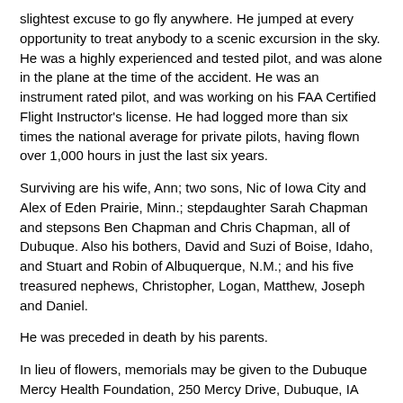slightest excuse to go fly anywhere. He jumped at every opportunity to treat anybody to a scenic excursion in the sky. He was a highly experienced and tested pilot, and was alone in the plane at the time of the accident. He was an instrument rated pilot, and was working on his FAA Certified Flight Instructor's license. He had logged more than six times the national average for private pilots, having flown over 1,000 hours in just the last six years.
Surviving are his wife, Ann; two sons, Nic of Iowa City and Alex of Eden Prairie, Minn.; stepdaughter Sarah Chapman and stepsons Ben Chapman and Chris Chapman, all of Dubuque. Also his bothers, David and Suzi of Boise, Idaho, and Stuart and Robin of Albuquerque, N.M.; and his five treasured nephews, Christopher, Logan, Matthew, Joseph and Daniel.
He was preceded in death by his parents.
In lieu of flowers, memorials may be given to the Dubuque Mercy Health Foundation, 250 Mercy Drive, Dubuque, IA 52001; MPLS Plaza Project, University of Northern Iowa